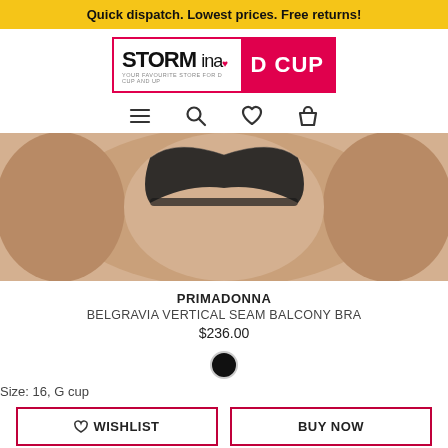Quick dispatch. Lowest prices. Free returns!
[Figure (logo): Storm in a D Cup logo — left side white with black bold text 'STORM ina' and tagline 'YOUR FAVOURITE STORE FOR D CUP AND UP', right side pink/red with white bold text 'D CUP']
[Figure (illustration): Navigation icons: hamburger menu, search magnifying glass, heart/wishlist, shopping bag]
[Figure (photo): Product photo showing a woman wearing a black bra — cropped torso view]
PRIMADONNA
BELGRAVIA VERTICAL SEAM BALCONY BRA
$236.00
[Figure (illustration): Black color swatch circle]
Size: 16, G cup
♡ WISHLIST
BUY NOW